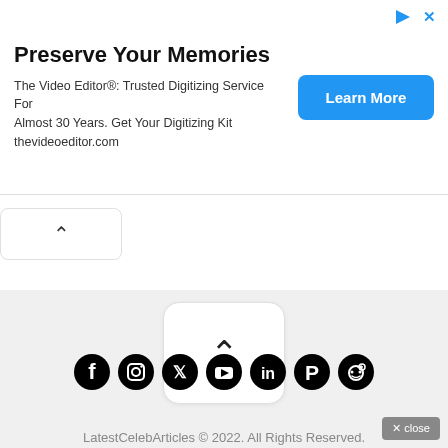[Figure (infographic): Advertisement banner for The Video Editor digitizing service with blue Learn More button]
[Figure (other): Scroll-up chevron button with white background, small, top left]
[Figure (other): Scroll-up chevron button with white background, large, center]
LatestCelebArticles © 2022. All Rights Reserved.
[Figure (other): Social media icons row: Facebook, Instagram, Twitter, YouTube, LinkedIn, Pinterest, Reddit]
[Figure (other): Close button bottom right corner: X close]